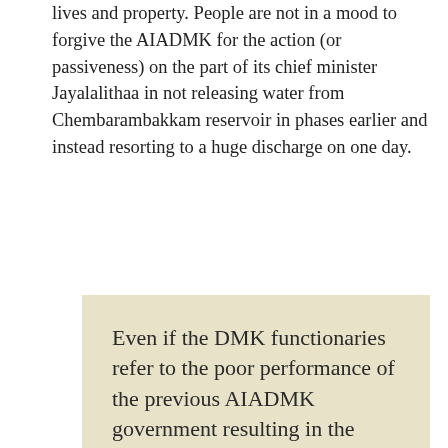lives and property. People are not in a mood to forgive the AIADMK for the action (or passiveness) on the part of its chief minister Jayalalithaa in not releasing water from Chembarambakkam reservoir in phases earlier and instead resorting to a huge discharge on one day.
Even if the DMK functionaries refer to the poor performance of the previous AIADMK government resulting in the present crisis, the overall track of the two parties while in power has been abysmal, with the DMK being only marginally better than the AIADMK. People cannot forget the trauma of the